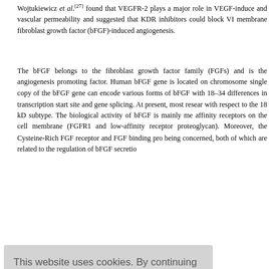Wojtukiewicz et al.[27] found that VEGFR-2 plays a major role in VEGF-induced and vascular permeability and suggested that KDR inhibitors could block VEGF membrane fibroblast growth factor (bFGF)-induced angiogenesis.
The bFGF belongs to the fibroblast growth factor family (FGFs) and is the angiogenesis promoting factor. Human bFGF gene is located on chromosome single copy of the bFGF gene can encode various forms of bFGF with 18–34 differences in transcription start site and gene splicing. At present, most research with respect to the 18 kD subtype. The biological activity of bFGF is mainly mediated by high-affinity receptors on the cell membrane (FGFR1 and low-affinity receptor proteoglycan). Moreover, the Cysteine-Rich FGF receptor and FGF binding protein being concerned, both of which are related to the regulation of bFGF secretion...
[Figure (screenshot): Cookie consent banner overlay with text: 'This website uses cookies. By continuing to use this website you are giving consent to cookies being used. For information on cookies and how you can disable them visit our Privacy and Cookie Policy.' and a red 'AGREE & PROCEED' button.]
...when the lumen, al cell growth, has been discovered, influence tumor invasion. ...sparsely expressed, vascular-rich cancer, first thought to be involved in development and injury, future. The role of bFGF has been gradually recognized in recent years.